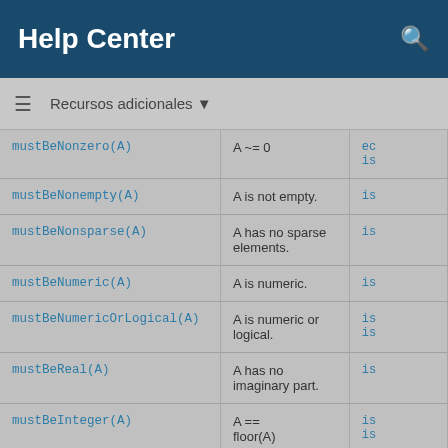Help Center
Recursos adicionales ▼
| Function | Description | ... |
| --- | --- | --- |
| mustBeNonzero(A) | A ~= 0 | ec is |
| mustBeNonempty(A) | A is not empty. | is |
| mustBeNonsparse(A) | A has no sparse elements. | is |
| mustBeNumeric(A) | A is numeric. | is |
| mustBeNumericOrLogical(A) | A is numeric or logical. | is is |
| mustBeReal(A) | A has no imaginary part. | is |
| mustBeInteger(A) | A == floor(A) | is is |